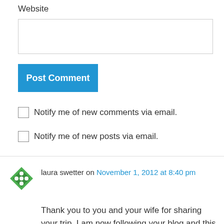Website
[Figure (screenshot): Empty text input box for Website field]
[Figure (screenshot): Blue 'Post Comment' button]
Notify me of new comments via email.
Notify me of new posts via email.
laura swetter on November 1, 2012 at 8:40 pm
Thank you to you and your wife for sharing your trip. I am now following your blog and this message was something I really took to heart, Especially the poem.
Please keep in touch.